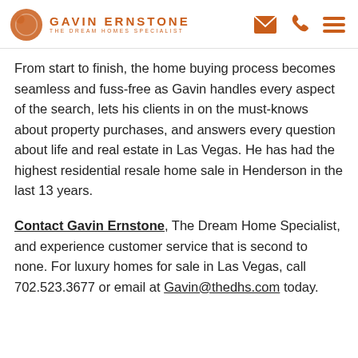GAVIN ERNSTONE THE DREAM HOMES SPECIALIST
From start to finish, the home buying process becomes seamless and fuss-free as Gavin handles every aspect of the search, lets his clients in on the must-knows about property purchases, and answers every question about life and real estate in Las Vegas. He has had the highest residential resale home sale in Henderson in the last 13 years.
Contact Gavin Ernstone, The Dream Home Specialist, and experience customer service that is second to none. For luxury homes for sale in Las Vegas, call 702.523.3677 or email at Gavin@thedhs.com today.